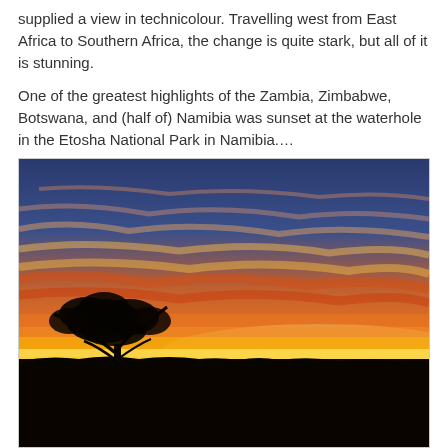supplied a view in technicolour. Travelling west from East Africa to Southern Africa, the change is quite stark, but all of it is stunning.

One of the greatest highlights of the Zambia, Zimbabwe, Botswana, and (half of) Namibia was sunset at the waterhole in the Etosha National Park in Namibia.…
[Figure (photo): A vivid sunset at a waterhole in Etosha National Park, Namibia. A lone acacia tree silhouette is visible on the left, with dramatic orange, red, yellow, and blue streaked sky reflected in the still water below.]